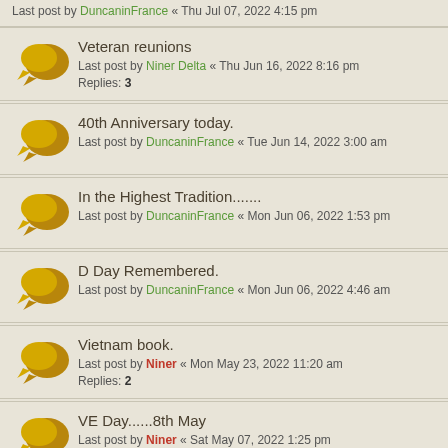Last post by DuncaninFrance « Thu Jul 07, 2022 4:15 pm
Veteran reunions
Last post by Niner Delta « Thu Jun 16, 2022 8:16 pm
Replies: 3
40th Anniversary today.
Last post by DuncaninFrance « Tue Jun 14, 2022 3:00 am
In the Highest Tradition.......
Last post by DuncaninFrance « Mon Jun 06, 2022 1:53 pm
D Day Remembered.
Last post by DuncaninFrance « Mon Jun 06, 2022 4:46 am
Vietnam book.
Last post by Niner « Mon May 23, 2022 11:20 am
Replies: 2
VE Day......8th May
Last post by Niner « Sat May 07, 2022 1:25 pm
Replies: 1
Thank you Harry............
Last post by Niner Delta « Tue Apr 26, 2022 8:34 pm
Replies: 1
...this is something...